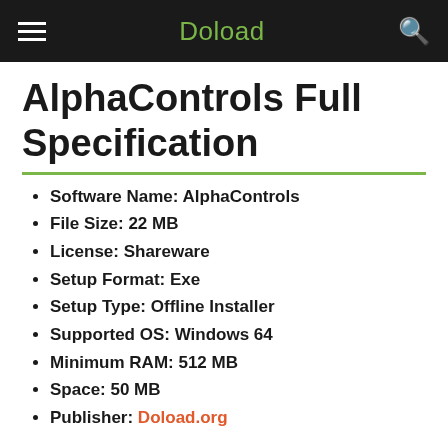Doload
AlphaControls Full Specification
Software Name: AlphaControls
File Size: 22 MB
License: Shareware
Setup Format: Exe
Setup Type: Offline Installer
Supported OS: Windows 64
Minimum RAM: 512 MB
Space: 50 MB
Publisher: Doload.org
AlphaControls Free